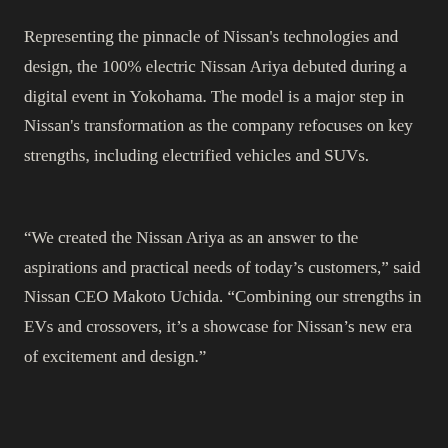Representing the pinnacle of Nissan's technologies and design, the 100% electric Nissan Ariya debuted during a digital event in Yokohama. The model is a major step in Nissan's transformation as the company refocuses on key strengths, including electrified vehicles and SUVs.
“We created the Nissan Ariya as an answer to the aspirations and practical needs of today’s customers,” said Nissan CEO Makoto Uchida. “Combining our strengths in EVs and crossovers, it’s a showcase for Nissan’s new era of excitement and design.”